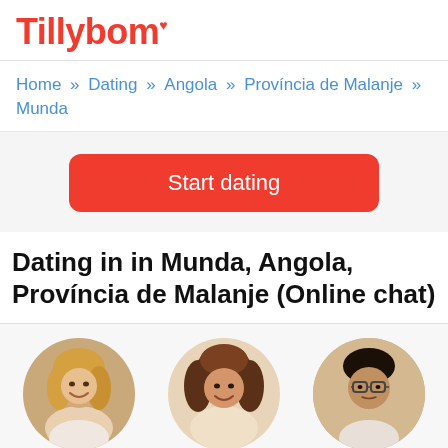Tillybom
Home » Dating » Angola » Província de Malanje » Munda
Start dating
Dating in in Munda, Angola, Província de Malanje (Online chat)
[Figure (photo): Profile photo of Kristin, 41 - circular cropped portrait of a blonde woman smiling]
Kristin, 41
[Figure (photo): Profile photo of Ellen, 75 - circular cropped portrait of a young woman with curly dark hair smiling]
Ellen, 75
[Figure (photo): Profile photo of Salman, 31 - circular cropped portrait of a man with glasses]
Salman, 31